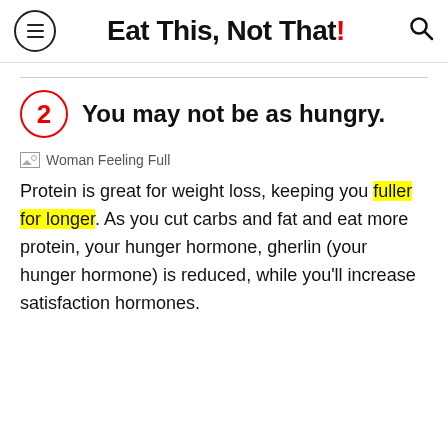Eat This, Not That!
2  You may not be as hungry.
[Figure (photo): Woman Feeling Full — broken image placeholder with alt text]
Protein is great for weight loss, keeping you fuller for longer. As you cut carbs and fat and eat more protein, your hunger hormone, gherlin (your hunger hormone) is reduced, while you'll increase satisfaction hormones.